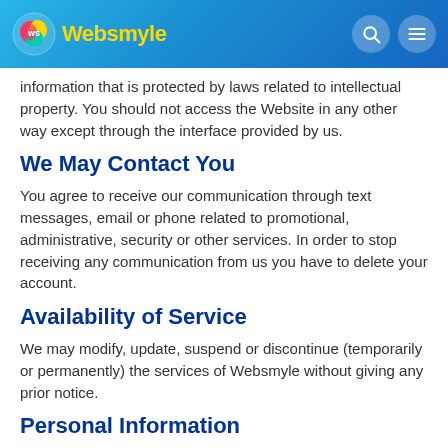Websmyle
information that is protected by laws related to intellectual property. You should not access the Website in any other way except through the interface provided by us.
We May Contact You
You agree to receive our communication through text messages, email or phone related to promotional, administrative, security or other services. In order to stop receiving any communication from us you have to delete your account.
Availability of Service
We may modify, update, suspend or discontinue (temporarily or permanently) the services of Websmyle without giving any prior notice.
Personal Information